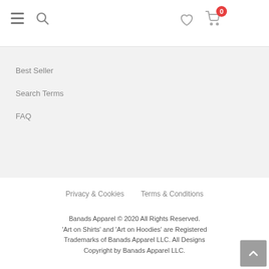Navigation header with hamburger menu, search, heart/wishlist, and cart (0 items)
Best Seller
Search Terms
FAQ
Privacy & Cookies   Terms & Conditions
Banads Apparel © 2020 All Rights Reserved. 'Art on Shirts' and 'Art on Hoodies' are Registered Trademarks of Banads Apparel LLC. All Designs Copyright by Banads Apparel LLC.